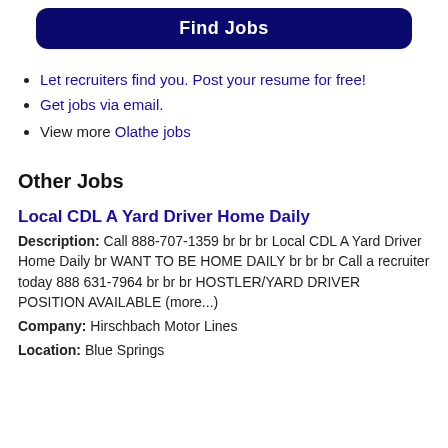Find Jobs
Let recruiters find you. Post your resume for free!
Get jobs via email.
View more Olathe jobs
Other Jobs
Local CDL A Yard Driver Home Daily
Description: Call 888-707-1359 br br br Local CDL A Yard Driver Home Daily br WANT TO BE HOME DAILY br br br Call a recruiter today 888 631-7964 br br br HOSTLER/YARD DRIVER POSITION AVAILABLE (more...)
Company: Hirschbach Motor Lines
Location: Blue Springs